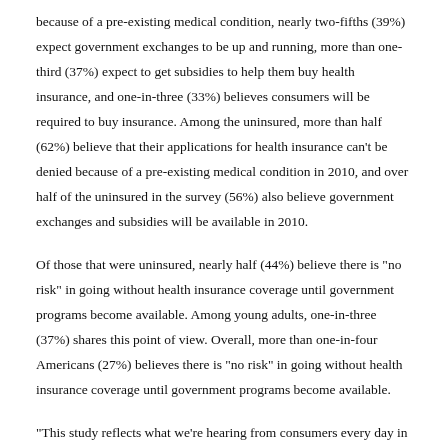because of a pre-existing medical condition, nearly two-fifths (39%) expect government exchanges to be up and running, more than one-third (37%) expect to get subsidies to help them buy health insurance, and one-in-three (33%) believes consumers will be required to buy insurance. Among the uninsured, more than half (62%) believe that their applications for health insurance can't be denied because of a pre-existing medical condition in 2010, and over half of the uninsured in the survey (56%) also believe government exchanges and subsidies will be available in 2010.
Of those that were uninsured, nearly half (44%) believe there is "no risk" in going without health insurance coverage until government programs become available. Among young adults, one-in-three (37%) shares this point of view. Overall, more than one-in-four Americans (27%) believes there is "no risk" in going without health insurance coverage until government programs become available.
"This study reflects what we're hearing from consumers every day in our customer care center," said Gary Lauer, president and CEO of eHealth, Inc. "A significant portion of the population has unrealistic expectations for health insurance reform and its short-term impact on their lives and health. We believe health reform holds promise for a better system, but the risk of waiting four years until it's fully implemented could be severe. A study published last year in the